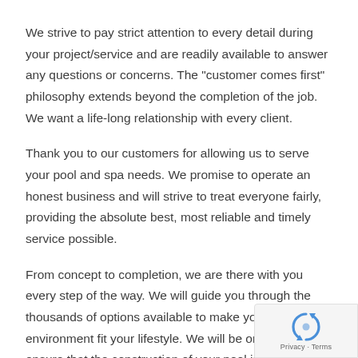We strive to pay strict attention to every detail during your project/service and are readily available to answer any questions or concerns. The "customer comes first" philosophy extends beyond the completion of the job. We want a life-long relationship with every client.
Thank you to our customers for allowing us to serve your pool and spa needs. We promise to operate an honest business and will strive to treat everyone fairly, providing the absolute best, most reliable and timely service possible.
From concept to completion, we are there with you every step of the way. We will guide you through the thousands of options available to make your backyard environment fit your lifestyle. We will be on-site to ensure that the construction of your pool is completed promptly, correctly and to your satisfaction. Call today to find out more.
[Figure (logo): Google reCAPTCHA privacy badge with recycling-arrow icon and Privacy - Terms links]